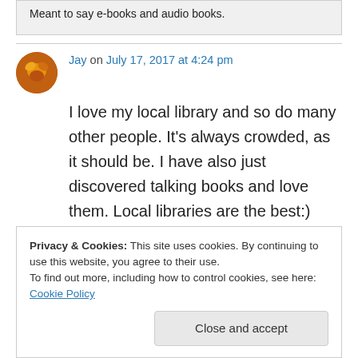Meant to say e-books and audio books.
Jay on July 17, 2017 at 4:24 pm
I love my local library and so do many other people. It's always crowded, as it should be. I have also just discovered talking books and love them. Local libraries are the best:)
Privacy & Cookies: This site uses cookies. By continuing to use this website, you agree to their use. To find out more, including how to control cookies, see here: Cookie Policy
Close and accept